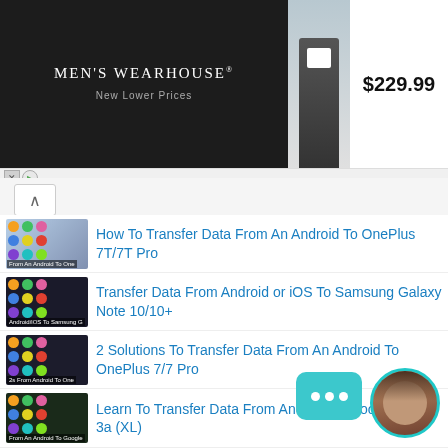[Figure (screenshot): Men's Wearhouse advertisement banner showing couple in formal wear, suit photo, and price $229.99]
How To Transfer Data From An Android To OnePlus 7T/7T Pro
Transfer Data From Android or iOS To Samsung Galaxy Note 10/10+
2 Solutions To Transfer Data From An Android To OnePlus 7/7 Pro
Learn To Transfer Data From Android To Google Pixel 3a (XL)